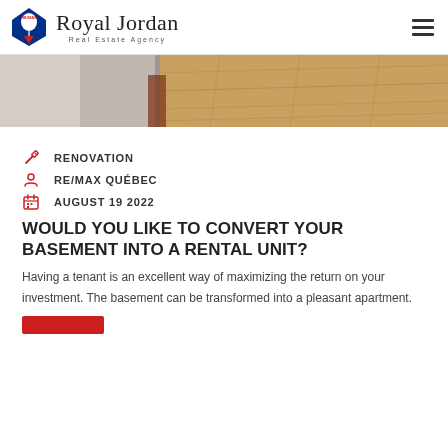Royal Jordan Real Estate Agency
[Figure (photo): Close-up photo of hardwood flooring and white wall corner]
RENOVATION
RE/MAX QUÉBEC
AUGUST 19 2022
WOULD YOU LIKE TO CONVERT YOUR BASEMENT INTO A RENTAL UNIT?
Having a tenant is an excellent way of maximizing the return on your investment. The basement can be transformed into a pleasant apartment.